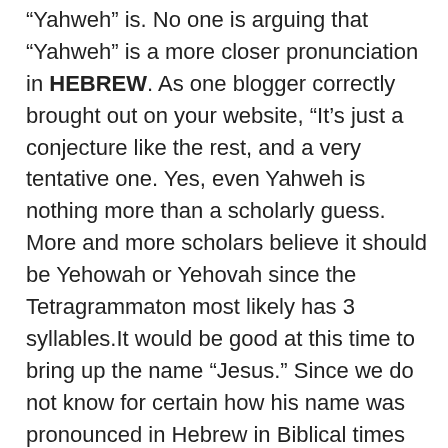“Yahweh” is. No one is arguing that “Yahweh” is a more closer pronunciation in HEBREW. As one blogger correctly brought out on your website, “It’s just a conjecture like the rest, and a very tentative one. Yes, even Yahweh is nothing more than a scholarly guess. More and more scholars believe it should be Yehowah or Yehovah since the Tetragrammaton most likely has 3 syllables.It would be good at this time to bring up the name “Jesus.” Since we do not know for certain how his name was pronounced in Hebrew in Biblical times would hesitate to use it or say it is not the real name of the Son of God? How do we see his name in the majority of English Bibles? His name was something like Yeshua (or perhaps Yehoshua). It certainly was not Jesus. When the